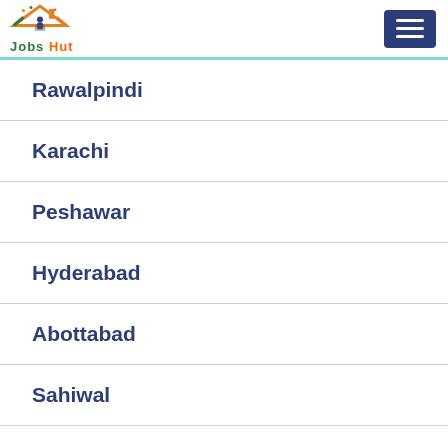[Figure (logo): Jobs Hut logo with house/roof icon and text 'Jobs Hut' in green and orange]
Rawalpindi
Karachi
Peshawar
Hyderabad
Abottabad
Sahiwal
Multan
Okara